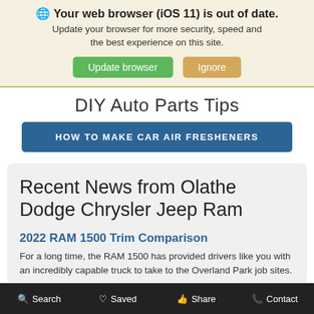Your web browser (iOS 11) is out of date. Update your browser for more security, speed and the best experience on this site. Update browser | Ignore
DIY Auto Parts Tips
HOW TO MAKE CAR AIR FRESHENERS
Recent News from Olathe Dodge Chrysler Jeep Ram
2022 RAM 1500 Trim Comparison
For a long time, the RAM 1500 has provided drivers like you with an incredibly capable truck to take to the Overland Park job sites.
Search  Saved  Share  Contact